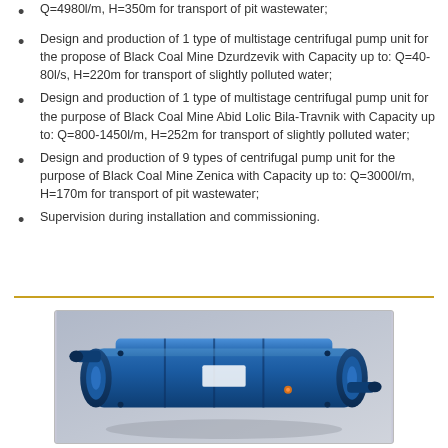Q=4980l/m, H=350m for transport of pit wastewater;
Design and production of 1 type of multistage centrifugal pump unit for the propose of Black Coal Mine Dzurdzevik with Capacity up to: Q=40-80l/s, H=220m for transport of slightly polluted water;
Design and production of 1 type of multistage centrifugal pump unit for the purpose of Black Coal Mine Abid Lolic Bila-Travnik with Capacity up to: Q=800-1450l/m, H=252m for transport of slightly polluted water;
Design and production of 9 types of centrifugal pump unit for the purpose of Black Coal Mine Zenica with Capacity up to: Q=3000l/m, H=170m for transport of pit wastewater;
Supervision during installation and commissioning.
[Figure (photo): Blue multistage centrifugal pump unit photographed from above/side angle, showing blue metal casing with multiple stages and pipe connections.]